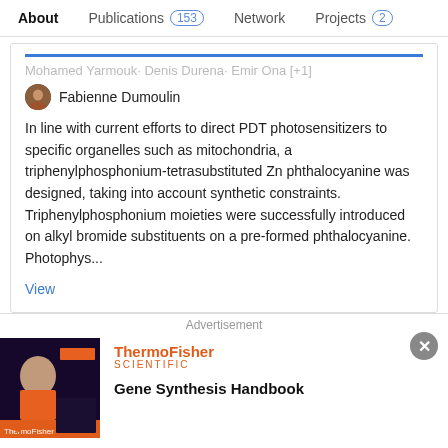About  Publications 153  Network  Projects 2
Mohamed Yarmouk  Denis Durena  Emir Ona [+1]  Fabienne Dumoulin
In line with current efforts to direct PDT photosensitizers to specific organelles such as mitochondria, a triphenylphosphonium-tetrasubstituted Zn phthalocyanine was designed, taking into account synthetic constraints. Triphenylphosphonium moieties were successfully introduced on alkyl bromide substituents on a pre-formed phthalocyanine. Photophys...
View
Can Heterocyclic γ-Peptides Provide Polyfunctional Platforms for Synthetic Glycocluster Construction?
Article
Advertisement
[Figure (photo): ThermoFisher Scientific advertisement banner with dark background image on left showing a scientist, ThermoFisher Scientific logo and text 'Gene Synthesis Handbook']
Gene Synthesis Handbook